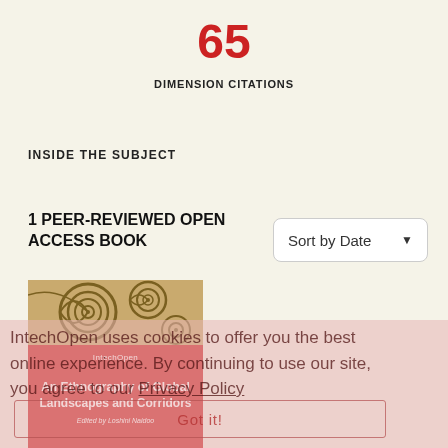65
DIMENSION CITATIONS
INSIDE THE SUBJECT
1 PEER-REVIEWED OPEN ACCESS BOOK
[Figure (screenshot): Sort by Date dropdown button]
[Figure (illustration): Book cover for 'An Ethnography of Global Landscapes and Corridors' edited by Loshini Naidoo, published by IntechOpen. Red cover with decorative Aboriginal-style artwork at top.]
IntechOpen uses cookies to offer you the best online experience. By continuing to use our site, you agree to our Privacy Policy
Got it!